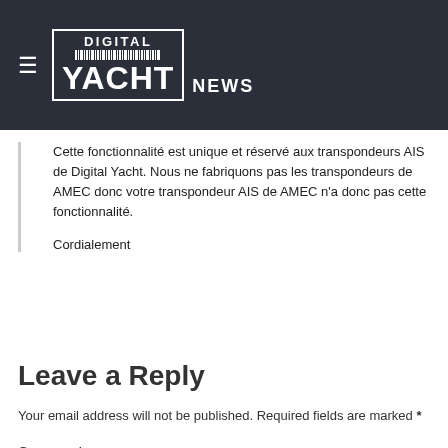Digital Yacht News
Cette fonctionnalité est unique et réservé aux transpondeurs AIS de Digital Yacht. Nous ne fabriquons pas les transpondeurs de AMEC donc votre transpondeur AIS de AMEC n'a donc pas cette fonctionnalité.

Cordialement
Leave a Reply
Your email address will not be published. Required fields are marked *
Comment